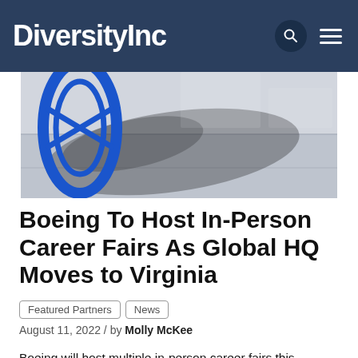DiversityInc
[Figure (photo): Close-up photo of a blue Boeing logo/sculpture on the exterior of a building, with light and shadow visible on the surface.]
Boeing To Host In-Person Career Fairs As Global HQ Moves to Virginia
Featured Partners | News | August 11, 2022 / by Molly McKee
Boeing will host multiple in-person career fairs this weekend (Aug. 11, 12 and 15) as the company establishes its new global headquarters in Arlington, Virginia. The Boeing Company ranked No. 16 on The DiversityInc Top 50 Companies for Diversity list in